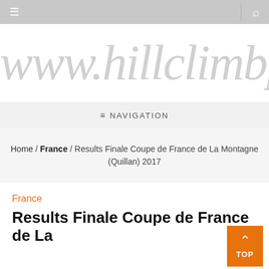☰  |  🔍
[Figure (logo): www.hillclimbpo (partial website logo in large italic serif gray text)]
≡ NAVIGATION
Home / France / Results Finale Coupe de France de La Montagne (Quillan) 2017
France
Results Finale Coupe de France de La Montagne (Quillan)